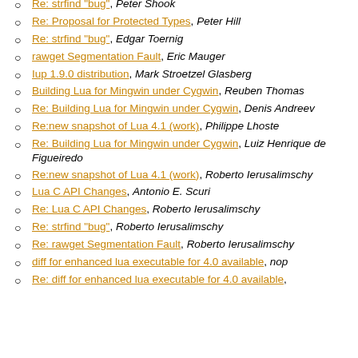Re: strfind "bug", Peter Shook
Re: Proposal for Protected Types, Peter Hill
Re: strfind "bug", Edgar Toernig
rawget Segmentation Fault, Eric Mauger
Iup 1.9.0 distribution, Mark Stroetzel Glasberg
Building Lua for Mingwin under Cygwin, Reuben Thomas
Re: Building Lua for Mingwin under Cygwin, Denis Andreev
Re:new snapshot of Lua 4.1 (work), Philippe Lhoste
Re: Building Lua for Mingwin under Cygwin, Luiz Henrique de Figueiredo
Re:new snapshot of Lua 4.1 (work), Roberto Ierusalimschy
Lua C API Changes, Antonio E. Scuri
Re: Lua C API Changes, Roberto Ierusalimschy
Re: strfind "bug", Roberto Ierusalimschy
Re: rawget Segmentation Fault, Roberto Ierusalimschy
diff for enhanced lua executable for 4.0 available, nop
Re: diff for enhanced lua executable for 4.0 available,